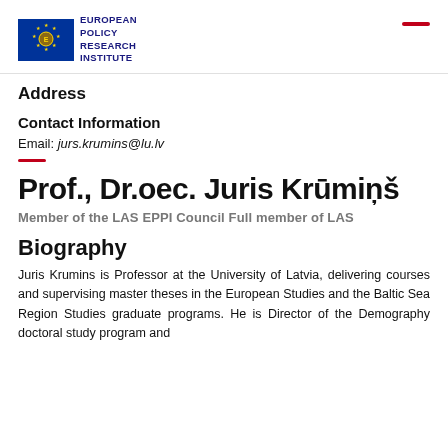[Figure (logo): European Policy Research Institute (EPRI) logo with EU flag stars and golden emblem, with text EUROPEAN POLICY RESEARCH INSTITUTE]
Address
Contact Information
Email: jurs.krumins@lu.lv
Prof., Dr.oec. Juris Krūmiņš
Member of the LAS EPPI Council Full member of LAS
Biography
Juris Krumins is Professor at the University of Latvia, delivering courses and supervising master theses in the European Studies and the Baltic Sea Region Studies graduate programs. He is Director of the Demography doctoral study program and